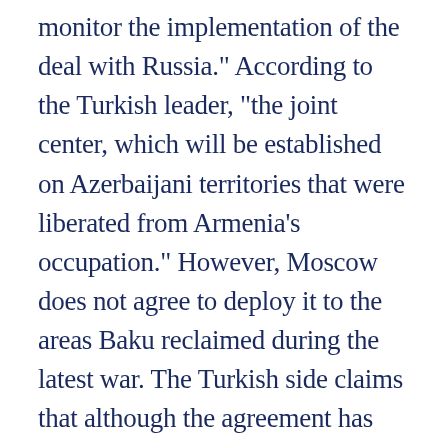monitor the implementation of the deal with Russia.” According to the Turkish leader, “the joint center, which will be established on Azerbaijani territories that were liberated from Armenia’s occupation.” However, Moscow does not agree to deploy it to the areas Baku reclaimed during the latest war. The Turkish side claims that although the agreement has already been signed,